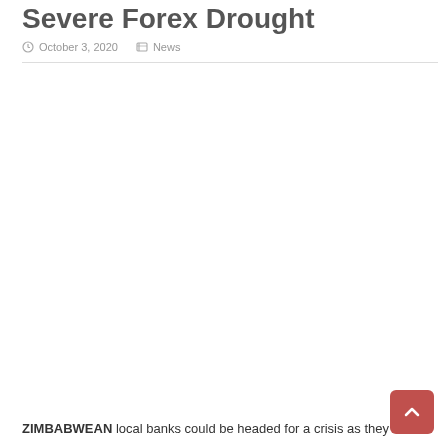Severe Forex Drought
October 3, 2020   News
ZIMBABWEAN local banks could be headed for a crisis as they battle for liquidity the country's...